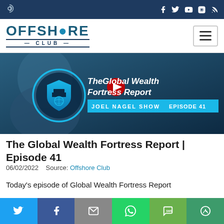Offshore Club — top navigation bar with social icons
[Figure (logo): Offshore Club logo with teal lettering and 'CLUB' subtext]
[Figure (screenshot): Thumbnail for The Global Wealth Fortress Report, Joel Nagel Show Episode 41 — man in suit, shield logo, YouTube play button, cyan banner with show name and episode]
The Global Wealth Fortress Report | Episode 41
06/02/2022    Source: Offshore Club
Today's episode of Global Wealth Fortress Report